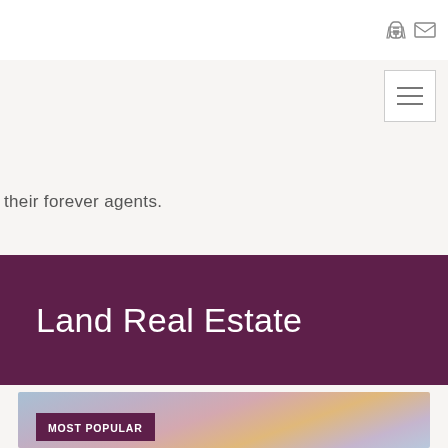their forever agents.
Land Real Estate
[Figure (photo): Outdoor landscape photo with a sky showing pink and blue sunset/dusk colors, partially visible at the bottom of the page]
MOST POPULAR